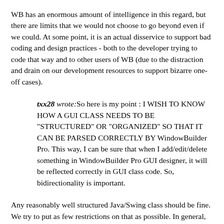WB has an enormous amount of intelligence in this regard, but there are limits that we would not choose to go beyond even if we could. At some point, it is an actual disservice to support bad coding and design practices - both to the developer trying to code that way and to other users of WB (due to the distraction and drain on our development resources to support bizarre one-off cases).
txx28 wrote:So here is my point : I WISH TO KNOW HOW A GUI CLASS NEEDS TO BE "STRUCTURED" OR "ORGANIZED" SO THAT IT CAN BE PARSED CORRECTLY BY WindowBuilder Pro. This way, I can be sure that when I add/edit/delete something in WindowBuilder Pro GUI designer, it will be reflected correctly in GUI class code. So, bidirectionality is important.
Any reasonably well structured Java/Swing class should be fine. We try to put as few restrictions on that as possible. In general, WB starts with the constructor and does a data flow analysis from there. It is concerned with static UI code and will ignore any dynamic constructs that it finds (code inside loops, conditions, event